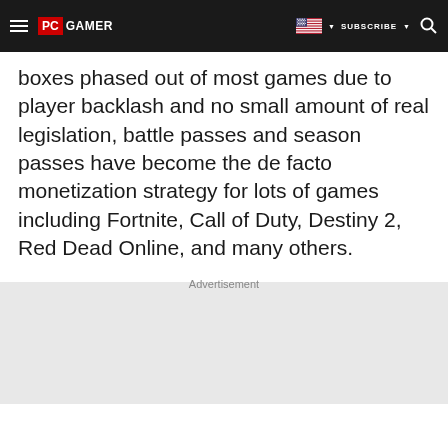PC GAMER | SUBSCRIBE
boxes phased out of most games due to player backlash and no small amount of real legislation, battle passes and season passes have become the de facto monetization strategy for lots of games including Fortnite, Call of Duty, Destiny 2, Red Dead Online, and many others.
Advertisement